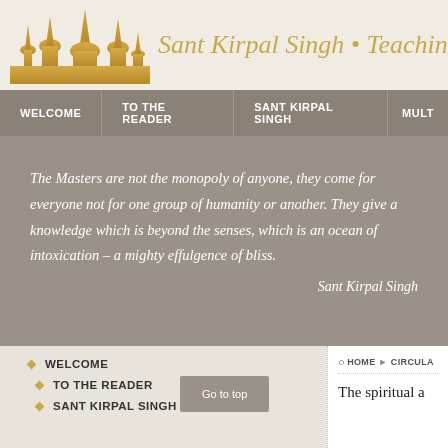Sant Kirpal Singh • Teachings
[Figure (illustration): Silhouette of temple/city skyline in gold]
WELCOME | TO THE READER | SANT KIRPAL SINGH | MULT
The Masters are not the monopoly of anyone, they come for everyone not for one group of humanity or another. They give a knowledge which is beyond the senses, which is an ocean of intoxication – a mighty effulgence of bliss.

Sant Kirpal Singh
WELCOME
TO THE READER
SANT KIRPAL SINGH
HOME ▶ CIRCULA
The spiritual a